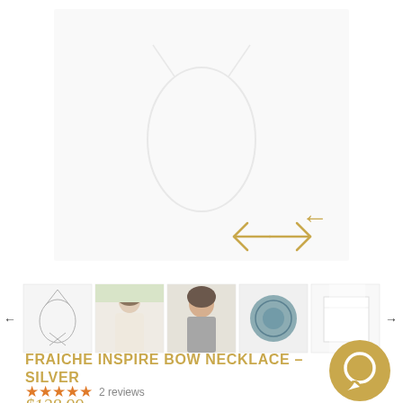[Figure (screenshot): E-commerce product page showing a bow necklace in silver. Large main image area (mostly white/faded) with gold navigation arrows (left and right). Below: a thumbnail strip with 5 product thumbnails — necklace on white background, model wearing necklace (outdoor, smiling), model close-up, blue/teal circular packaging, white box — flanked by left and right black arrows.]
FRAICHE INSPIRE BOW NECKLACE – SILVER
★★★★★ 2 reviews
$128.99